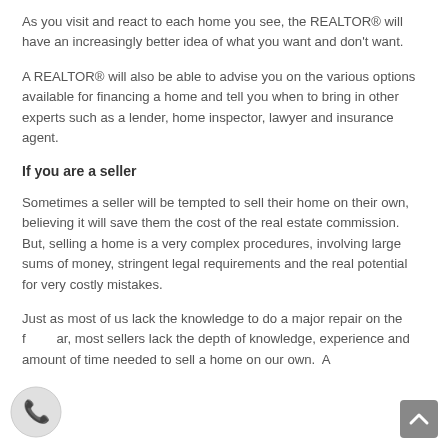As you visit and react to each home you see, the REALTOR® will have an increasingly better idea of what you want and don't want.
A REALTOR® will also be able to advise you on the various options available for financing a home and tell you when to bring in other experts such as a lender, home inspector, lawyer and insurance agent.
If you are a seller
Sometimes a seller will be tempted to sell their home on their own, believing it will save them the cost of the real estate commission.  But, selling a home is a very complex procedures, involving large sums of money, stringent legal requirements and the real potential for very costly mistakes.
Just as most of us lack the knowledge to do a major repair on the family car, most sellers lack the depth of knowledge, experience and amount of time needed to sell a home on our own.  A